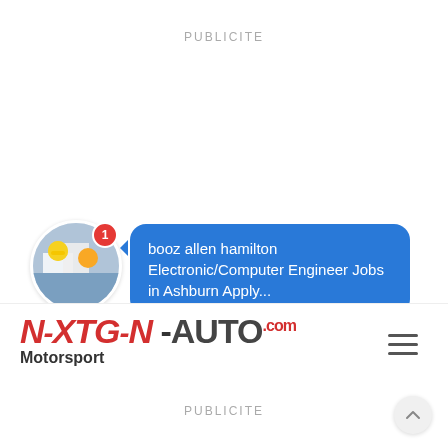PUBLICITE
[Figure (infographic): Ad widget showing a circular avatar of construction workers with a red badge showing '1', and a blue speech bubble with text: 'booz allen hamilton Electronic/Computer Engineer Jobs in Ashburn Apply...' with play and close controls below]
[Figure (logo): NextGen-Auto.com Motorsport logo — red bold italic text for NEXTGEN, dark text for -AUTO with red .com superscript, and Motorsport subtitle below]
PUBLICITE